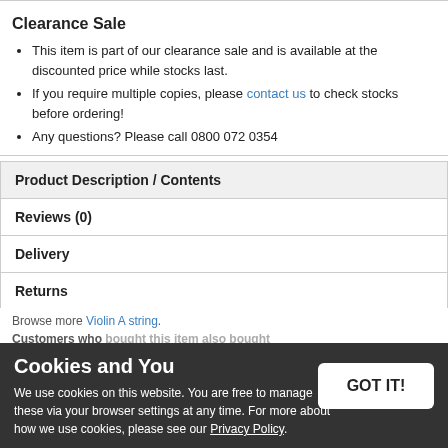Clearance Sale
This item is part of our clearance sale and is available at the discounted price while stocks last.
If you require multiple copies, please contact us to check stocks before ordering!
Any questions? Please call 0800 072 0354
Product Description / Contents
Reviews (0)
Delivery
Returns
Browse more Violin A string.
Customers who bought this item also bought
Dogal Green Label Violin A String - 4/4 & 3/4 Size
Cookies and You
We use cookies on this website. You are free to manage these via your browser settings at any time. For more about how we use cookies, please see our Privacy Policy.